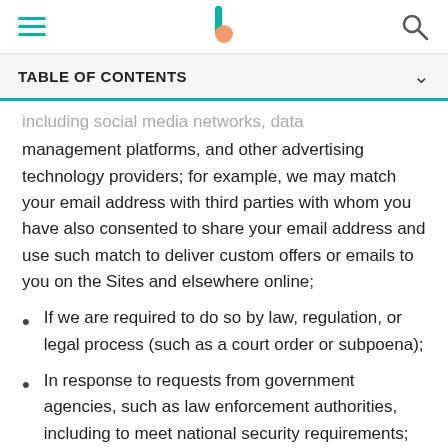Navigation bar with hamburger menu, logo, and search icon
TABLE OF CONTENTS
including social media networks, data management platforms, and other advertising technology providers; for example, we may match your email address with third parties with whom you have also consented to share your email address and use such match to deliver custom offers or emails to you on the Sites and elsewhere online;
If we are required to do so by law, regulation, or legal process (such as a court order or subpoena);
In response to requests from government agencies, such as law enforcement authorities, including to meet national security requirements;